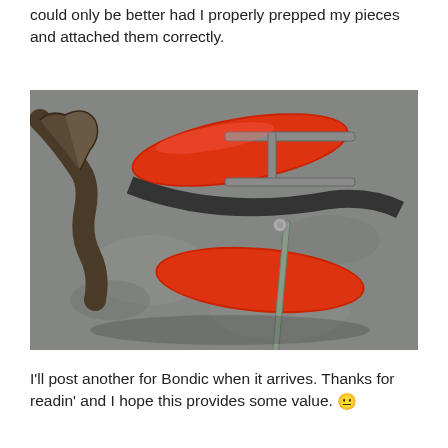could only be better had I properly prepped my pieces and attached them correctly.
[Figure (photo): Photograph of red-handled pliers and a metal tool/bracket laid on a grey concrete surface.]
I'll post another for Bondic when it arrives. Thanks for readin' and I hope this provides some value. 🙂